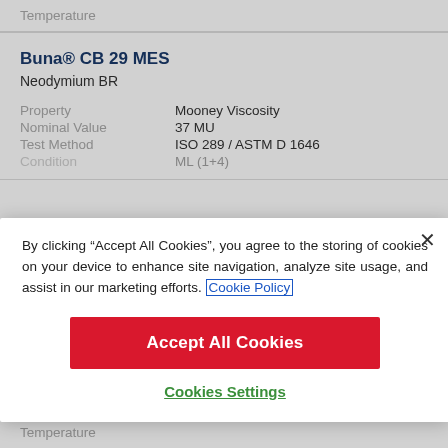Temperature
Buna® CB 29 MES
Neodymium BR
| Property |  |
| --- | --- |
| Property | Mooney Viscosity |
| Nominal Value | 37 MU |
| Test Method | ISO 289 / ASTM D 1646 |
| Condition | ML (1+4) |
By clicking “Accept All Cookies”, you agree to the storing of cookies on your device to enhance site navigation, analyze site usage, and assist in our marketing efforts. Cookie Policy
Accept All Cookies
Cookies Settings
Temperature